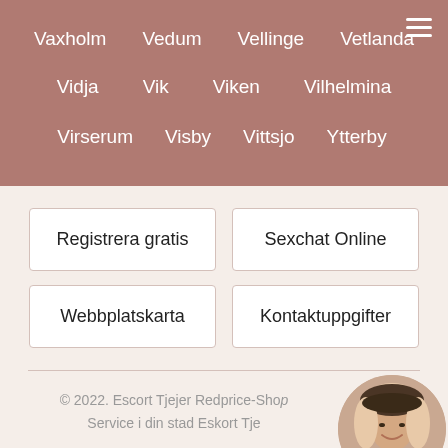Vaxholm   Vedum   Vellinge   Vetlanda
Vidja   Vik   Viken   Vilhelmina
Virserum   Visby   Vittsjo   Ytterby
Registrera gratis
Sexchat Online
Webbplatskarta
Kontaktuppgifter
© 2022. Escort Tjejer Redprice-Shop Service i din stad Eskort Tje
[Figure (photo): Circular profile photo of a woman with light wavy hair, smiling, wearing dark clothing]